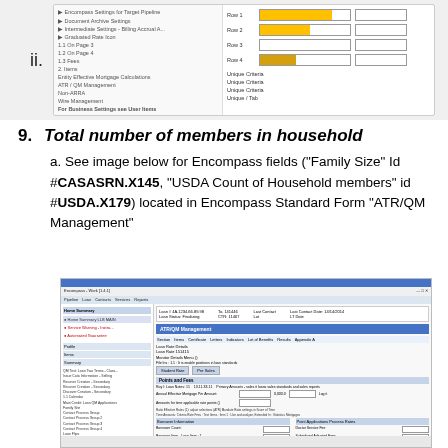[Figure (screenshot): Screenshot showing a form with a list of fields on the left and bar chart rows on the right side, with fields like row 1, row 2, row 3, row 4 having colored bars and corresponding fields]
ii.
9. Total number of members in household
a. See image below for Encompass fields ("Family Size" Id #CASASRN.X145, "USDA Count of Household members" id #USDA.X179) located in Encompass Standard Form "ATR/QM Management"
[Figure (screenshot): Screenshot of Encompass software showing the ATR/QM Management standard form with fields including Family Size (highlighted in orange) and USDA Count of Household members]